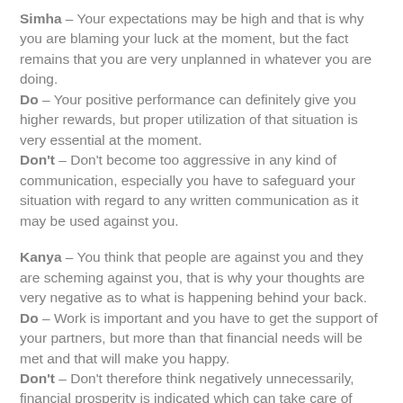Simha – Your expectations may be high and that is why you are blaming your luck at the moment, but the fact remains that you are very unplanned in whatever you are doing. Do – Your positive performance can definitely give you higher rewards, but proper utilization of that situation is very essential at the moment. Don't – Don't become too aggressive in any kind of communication, especially you have to safeguard your situation with regard to any written communication as it may be used against you.
Kanya – You think that people are against you and they are scheming against you, that is why your thoughts are very negative as to what is happening behind your back. Do – Work is important and you have to get the support of your partners, but more than that financial needs will be met and that will make you happy. Don't – Don't therefore think negatively unnecessarily, financial prosperity is indicated which can take care of many things side by side.
Tula – You have to let others know as to what you think